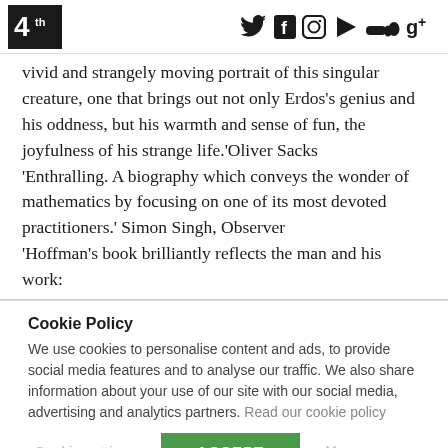4th [logo] | social icons: Twitter, Facebook, Instagram, YouTube, SoundCloud, Google+
vivid and strangely moving portrait of this singular creature, one that brings out not only Erdos's genius and his oddness, but his warmth and sense of fun, the joyfulness of his strange life.' Oliver Sacks 'Enthralling. A biography which conveys the wonder of mathematics by focusing on one of its most devoted practitioners.' Simon Singh, Observer 'Hoffman's book brilliantly reflects the man and his work:
Cookie Policy
We use cookies to personalise content and ads, to provide social media features and to analyse our traffic. We also share information about your use of our site with our social media, advertising and analytics partners. Read our cookie policy
Cookie settings  ACCEPT  X